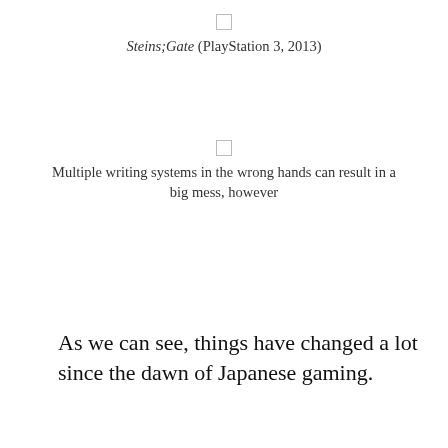Steins;Gate (PlayStation 3, 2013)
Multiple writing systems in the wrong hands can result in a big mess, however
As we can see, things have changed a lot since the dawn of Japanese gaming.
Summary
Again, if you're already familiar with Japanese, most of this was probably old news to you. Even so, my hope is that this brief overview will not only help readers understand why Japanese words can be written in multiple ways, but also how Japanese games and game text have transformed